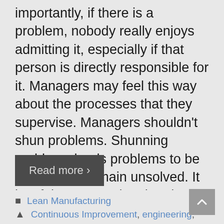importantly, if there is a problem, nobody really enjoys admitting it, especially if that person is directly responsible for it. Managers may feel this way about the processes that they supervise. Managers shouldn't shun problems. Shunning problems leads problems to be hidden and remain unsolved. It is a false conception that they are better off if there aren't any problems. In this case, the only problems that are solved are the ones that can't be hidden, such as
Read more ›
Lean Manufacturing
Continuous Improvement, engineering,